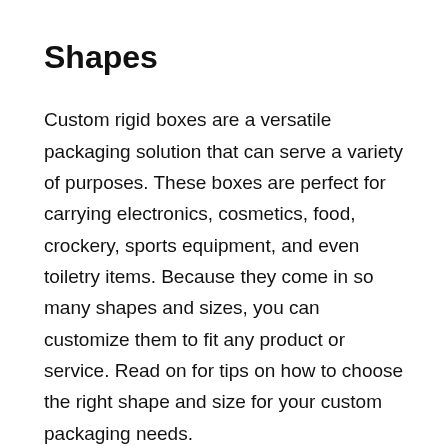Shapes
Custom rigid boxes are a versatile packaging solution that can serve a variety of purposes. These boxes are perfect for carrying electronics, cosmetics, food, crockery, sports equipment, and even toiletry items. Because they come in so many shapes and sizes, you can customize them to fit any product or service. Read on for tips on how to choose the right shape and size for your custom packaging needs.
Lid-up rigid boxes are often made of two or three pieces of chipboard that lift off to reveal the